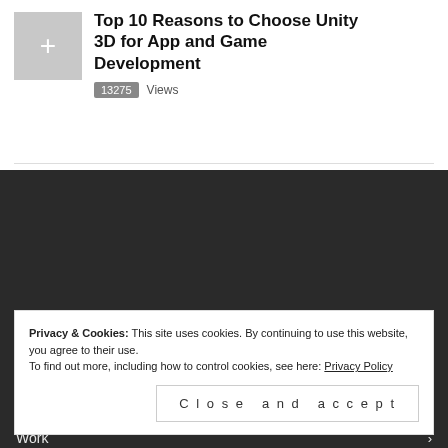Top 10 Reasons to Choose Unity 3D for App and Game Development
13275 Views
Home
About
Privacy & Cookies: This site uses cookies. By continuing to use this website, you agree to their use.
To find out more, including how to control cookies, see here: Privacy Policy
Close and accept
Work